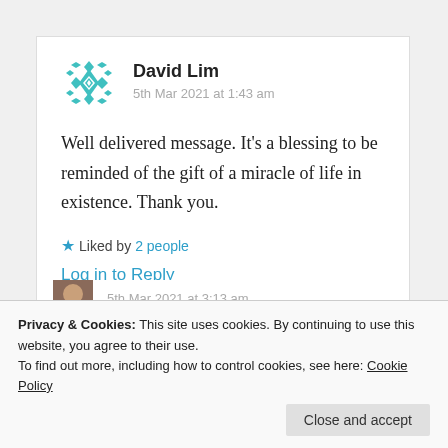[Figure (illustration): Teal geometric avatar icon for user David Lim]
David Lim
5th Mar 2021 at 1:43 am
Well delivered message. It's a blessing to be reminded of the gift of a miracle of life in existence. Thank you.
Liked by 2 people
Log in to Reply
Privacy & Cookies: This site uses cookies. By continuing to use this website, you agree to their use.
To find out more, including how to control cookies, see here: Cookie Policy
Close and accept
5th Mar 2021 at 3:13 am